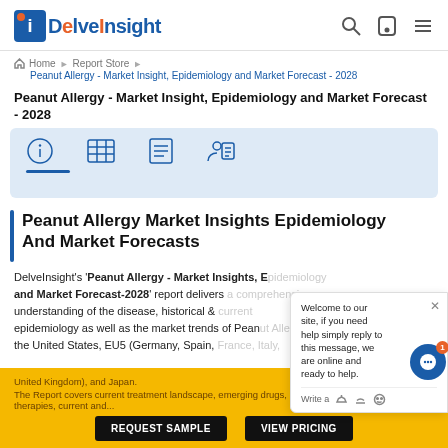DELVEINSIGHT — navigation header with logo and icons
Home > Report Store > Peanut Allergy - Market Insight, Epidemiology and Market Forecast - 2028
Peanut Allergy - Market Insight, Epidemiology and Market Forecast - 2028
[Figure (infographic): Icon tabs row: info, table/grid, list/report, and person-with-document icons on light blue background with blue underline under first icon]
Peanut Allergy Market Insights Epidemiology And Market Forecasts
DelveInsight's 'Peanut Allergy - Market Insights, Epidemiology and Market Forecast-2028' report delivers a comprehensive understanding of the disease, historical & current epidemiology as well as the market trends of Peanut Allergy in the United States, EU5 (Germany, Spain, France, Italy, United Kingdom), and Japan.
The Report covers current treatment landscape, emerging drugs, market share of the individual therapies, current and...
Welcome to our site, if you need help simply reply to this message, we are online and ready to help. Write a message...
REQUEST SAMPLE   VIEW PRICING